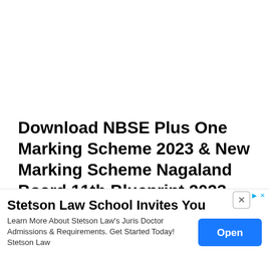Download NBSE Plus One Marking Scheme 2023 & New Marking Scheme Nagaland Board 11th Blueprint 2023,
Nagaland Board of School Education
(abbreviated as NBSE) is a board of school
[Figure (other): Advertisement overlay: Stetson Law School Invites You - Learn More About Stetson Law's Juris Doctor Admissions & Requirements. Get Started Today! Stetson Law. Open button. Close (X) button and ad badge icons visible.]